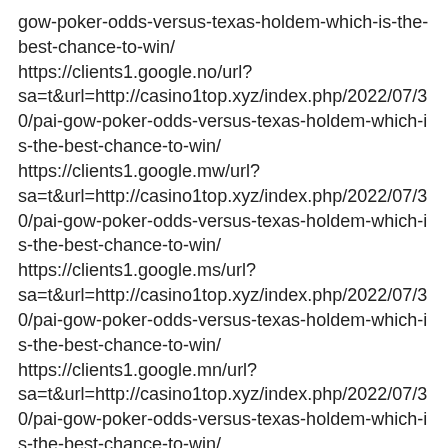gow-poker-odds-versus-texas-holdem-which-is-the-best-chance-to-win/
https://clients1.google.no/url?sa=t&url=http://casino1top.xyz/index.php/2022/07/30/pai-gow-poker-odds-versus-texas-holdem-which-is-the-best-chance-to-win/
https://clients1.google.mw/url?sa=t&url=http://casino1top.xyz/index.php/2022/07/30/pai-gow-poker-odds-versus-texas-holdem-which-is-the-best-chance-to-win/
https://clients1.google.ms/url?sa=t&url=http://casino1top.xyz/index.php/2022/07/30/pai-gow-poker-odds-versus-texas-holdem-which-is-the-best-chance-to-win/
https://clients1.google.mn/url?sa=t&url=http://casino1top.xyz/index.php/2022/07/30/pai-gow-poker-odds-versus-texas-holdem-which-is-the-best-chance-to-win/
https://clients1.google.md/url?sa=t&url=http://casino1top.xyz/index.php/2022/07/30/pai-